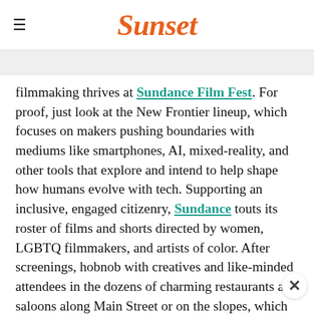Sunset
filmmaking thrives at Sundance Film Fest. For proof, just look at the New Frontier lineup, which focuses on makers pushing boundaries with mediums like smartphones, AI, mixed-reality, and other tools that explore and intend to help shape how humans evolve with tech. Supporting an inclusive, engaged citizenry, Sundance touts its roster of films and shorts directed by women, LGBTQ filmmakers, and artists of color. After screenings, hobnob with creatives and like-minded attendees in the dozens of charming restaurants and saloons along Main Street or on the slopes, which are directly accessed from downtown. Every night brings parties that range from low-key to glitzy. Jan. 23–Feb. 2